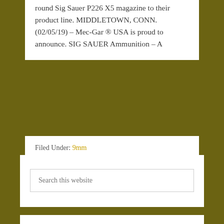round Sig Sauer P226 X5 magazine to their product line. MIDDLETOWN, CONN. (02/05/19) – Mec-Gar ® USA is proud to announce. SIG SAUER Ammunition – A
Filed Under: 9mm
Search this website